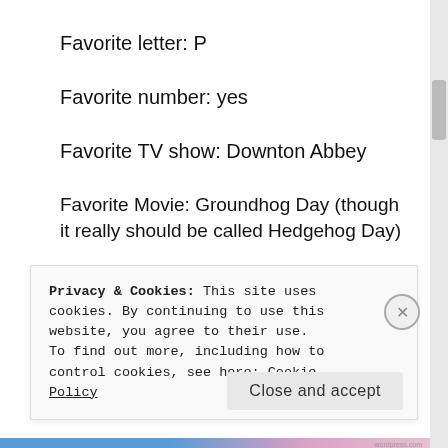Favorite letter: P
Favorite number: yes
Favorite TV show: Downton Abbey
Favorite Movie: Groundhog Day (though it really should be called Hedgehog Day)
Privacy & Cookies: This site uses cookies. By continuing to use this website, you agree to their use.
To find out more, including how to control cookies, see here: Cookie Policy
Close and accept